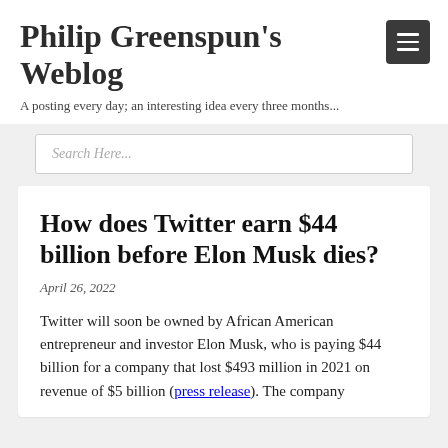Philip Greenspun's Weblog
A posting every day; an interesting idea every three months...
Search Here...
How does Twitter earn $44 billion before Elon Musk dies?
April 26, 2022
Twitter will soon be owned by African American entrepreneur and investor Elon Musk, who is paying $44 billion for a company that lost $493 million in 2021 on revenue of $5 billion (press release). The company